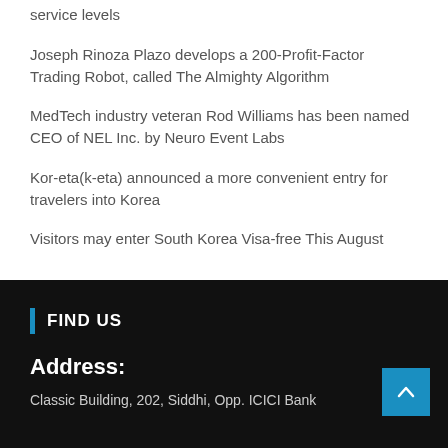service levels
Joseph Rinoza Plazo develops a 200-Profit-Factor Trading Robot, called The Almighty Algorithm
MedTech industry veteran Rod Williams has been named CEO of NEL Inc. by Neuro Event Labs
Kor-eta(k-eta) announced a more convenient entry for travelers into Korea
Visitors may enter South Korea Visa-free This August
FIND US
Address:
Classic Building, 202, Siddhi, Opp. ICICI Bank